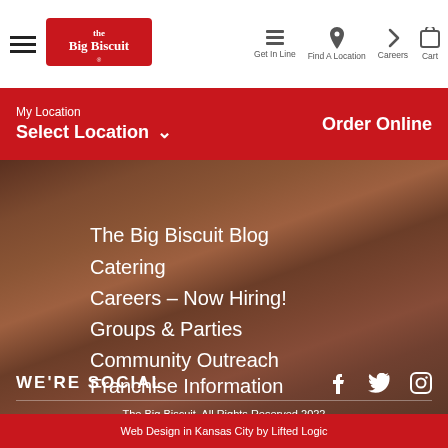The Big Biscuit — Get In Line, Find A Location, Careers, Cart
My Location
Select Location
Order Online
The Big Biscuit Blog
Catering
Careers – Now Hiring!
Groups & Parties
Community Outreach
Franchise Information
WE'RE SOCIAL
The Big Biscuit. All Rights Reserved 2022
Web Design in Kansas City by Lifted Logic